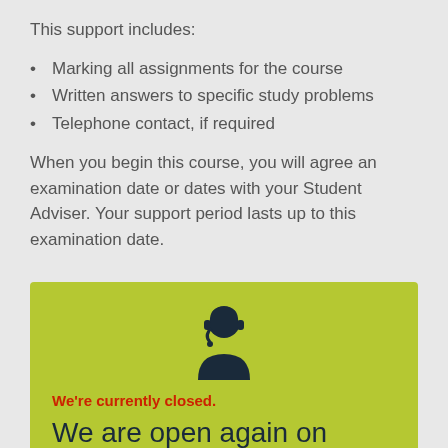This support includes:
Marking all assignments for the course
Written answers to specific study problems
Telephone contact, if required
When you begin this course, you will agree an examination date or dates with your Student Adviser. Your support period lasts up to this examination date.
We're currently closed.
We are open again on Monday from 9:00 am to 7:00 pm. If you like you can request a call